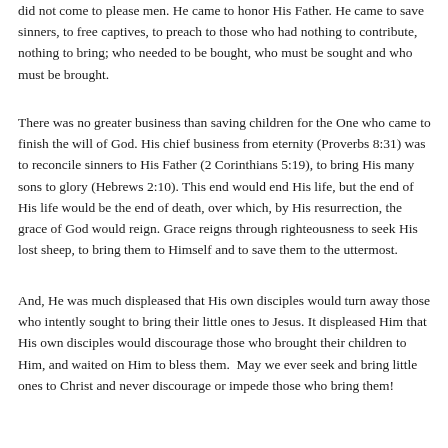did not come to please men. He came to honor His Father. He came to save sinners, to free captives, to preach to those who had nothing to contribute, nothing to bring; who needed to be bought, who must be sought and who must be brought.
There was no greater business than saving children for the One who came to finish the will of God. His chief business from eternity (Proverbs 8:31) was to reconcile sinners to His Father (2 Corinthians 5:19), to bring His many sons to glory (Hebrews 2:10). This end would end His life, but the end of His life would be the end of death, over which, by His resurrection, the grace of God would reign. Grace reigns through righteousness to seek His lost sheep, to bring them to Himself and to save them to the uttermost.
And, He was much displeased that His own disciples would turn away those who intently sought to bring their little ones to Jesus. It displeased Him that His own disciples would discourage those who brought their children to Him, and waited on Him to bless them. May we ever seek and bring little ones to Christ and never discourage or impede those who bring them!